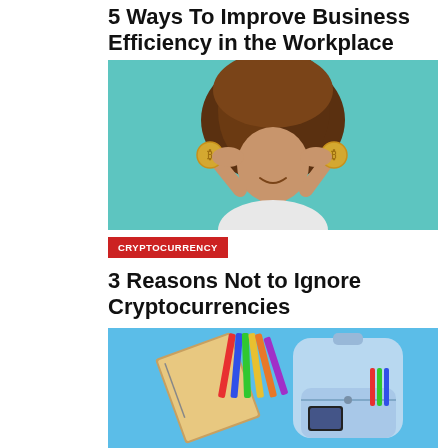5 Ways To Improve Business Efficiency in the Workplace
[Figure (photo): Woman with curly hair holding two gold bitcoin coins over her eyes against a teal background]
CRYPTOCURRENCY
3 Reasons Not to Ignore Cryptocurrencies
[Figure (photo): Light blue backpack with school supplies including colored pencils and a notebook on a blue background]